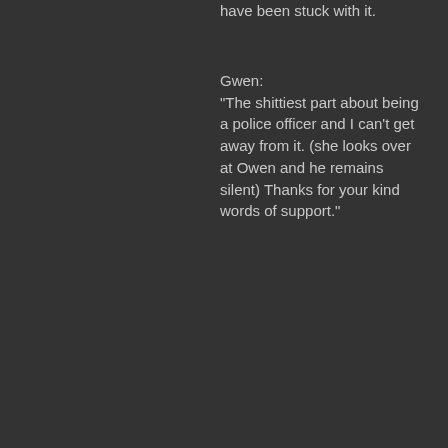have been stuck with it.
Gwen: "The shittiest part about being a police officer and I can't get away from it. (she looks over at Owen and he remains silent) Thanks for your kind words of support."